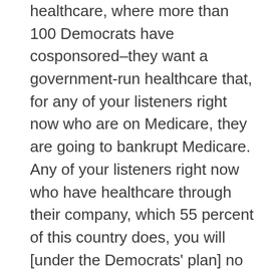healthcare, where more than 100 Democrats have cosponsored–they want a government-run healthcare that, for any of your listeners right now who are on Medicare, they are going to bankrupt Medicare. Any of your listeners right now who have healthcare through their company, which 55 percent of this country does, you will [under the Democrats' plan] no longer have the ability to do that. And then it comes into question if you're a veteran and you're going through the V.A., they want it government controlled.
Now, how do they even pay for that? Because if you doubled all the taxes, it still wouldn't pay for it. It's $32 trillion over 10 years. Think about what Republicans have done: We have worked through this Congress and we reauthorized the Children's Health Insurance Program, CHIP, for 10 years, the longest there's ever been. You know what the